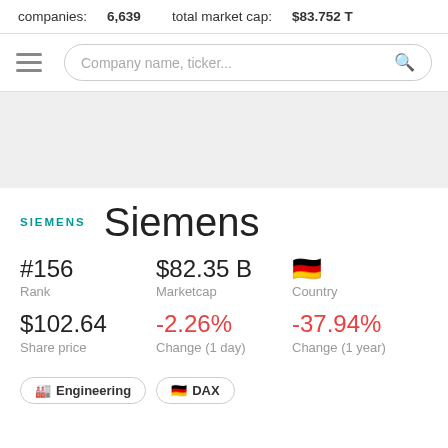companies: 6,639   total market cap: $83.752 T
[Figure (screenshot): Navigation bar with hamburger menu and search box labeled 'Company name, ticker...']
Siemens
#156
Rank
$82.35 B
Marketcap
🇩🇪 Country
$102.64
Share price
-2.26%
Change (1 day)
-37.94%
Change (1 year)
🏭 Engineering
🇩🇪 DAX